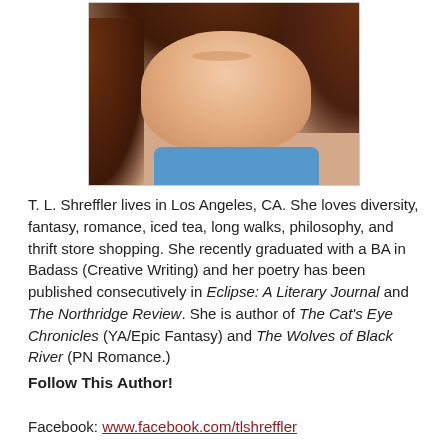[Figure (photo): Author photo of T. L. Shreffler, a woman with curly reddish-brown hair, smiling, cropped at the shoulders.]
T. L. Shreffler lives in Los Angeles, CA. She loves diversity, fantasy, romance, iced tea, long walks, philosophy, and thrift store shopping. She recently graduated with a BA in Badass (Creative Writing) and her poetry has been published consecutively in Eclipse: A Literary Journal and The Northridge Review. She is author of The Cat's Eye Chronicles (YA/Epic Fantasy) and The Wolves of Black River (PN Romance.)
Follow This Author!
Facebook: www.facebook.com/tlshreffler
Twitter: @catseyeauthor
Goodreads: https://www.goodreads.com/author/show/5138...